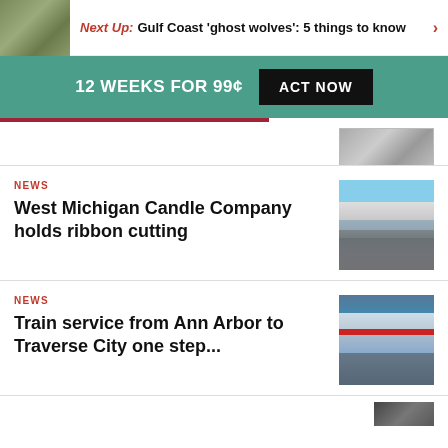Next Up: Gulf Coast 'ghost wolves': 5 things to know
12 WEEKS FOR 99¢ ACT NOW
[Figure (photo): Partial thumbnail image at top right]
NEWS
West Michigan Candle Company holds ribbon cutting
[Figure (photo): Photo of people gathered outside a building for ribbon cutting]
NEWS
Train service from Ann Arbor to Traverse City one step...
[Figure (photo): Photo of a train at a station]
[Figure (photo): Partial thumbnail at bottom of page]